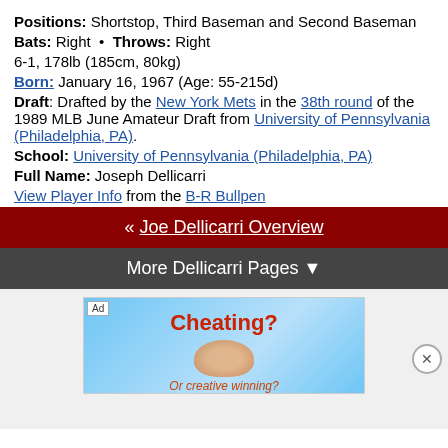Positions: Shortstop, Third Baseman and Second Baseman
Bats: Right • Throws: Right
6-1, 178lb (185cm, 80kg)
Born: January 16, 1967 (Age: 55-215d)
Draft: Drafted by the New York Mets in the 38th round of the 1989 MLB June Amateur Draft from University of Pennsylvania (Philadelphia, PA).
School: University of Pennsylvania (Philadelphia, PA)
Full Name: Joseph Dellicarri
View Player Info from the B-R Bullpen
« Joe Dellicarri Overview
More Dellicarri Pages ▼
[Figure (other): Advertisement banner showing 'Cheating?' text with a baseball image and 'Or creative winning?' subtext]